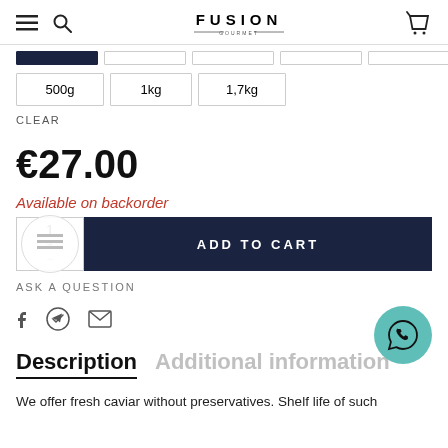FUSION GOURMET
500g
1kg
1,7kg
CLEAR
€27.00
Available on backorder
ADD TO CART
ASK A QUESTION
Description
Additional information
We offer fresh caviar without preservatives. Shelf life of such